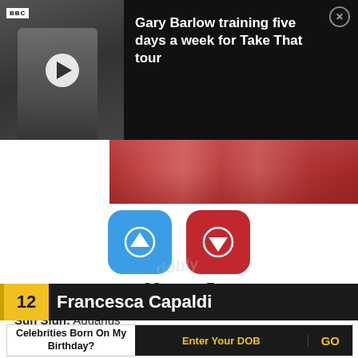[Figure (screenshot): Video overlay showing Gary Barlow near BBC building, with play button, dark background, and article title text]
Gary Barlow training five days a week for Take That tour
[Figure (photo): Image strip showing a person with red/auburn hair]
[Figure (infographic): Blue upvote button with arrow up icon showing count 22, and red downvote button with arrow down icon showing count 5]
Birthdate: February 18, 2004
Sun Sign: Aquarius
Birthplace: Dallas, Texas
12 Francesca Capaldi
Celebrities Born On My Birthday?
Enter Your DOB
GO